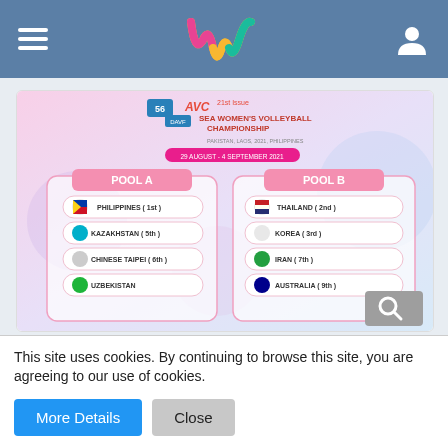Navigation header with hamburger menu, W logo, and user icon
[Figure (screenshot): AVC 21st Issue SEA Women's Volleyball Championship pool draw showing Pool A (Philippines 1st, Kazakhstan 5th, Chinese Taipei 6th, Uzbekistan) and Pool B (Thailand 2nd, Korea 3rd, Iran 7th, Australia 9th)]
[Figure (screenshot): Red geometric background with large white bold text reading WORLD]
This site uses cookies. By continuing to browse this site, you are agreeing to our use of cookies.
More Details  Close